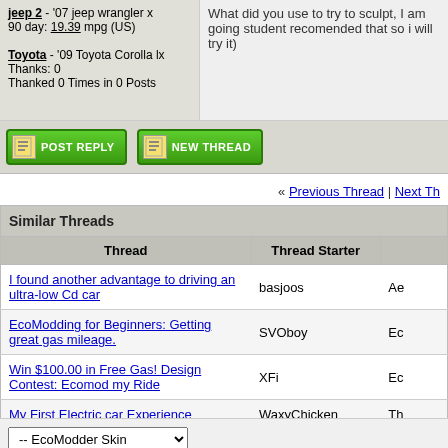jeep 2 - '07 jeep wrangler x 90 day: 19.39 mpg (US)
Toyota - '09 Toyota Corolla lx
Thanks: 0
Thanked 0 Times in 0 Posts
What did you use to try to sculpt, I am going student recomended that so i will try it)
[Figure (screenshot): POST REPLY and NEW THREAD green buttons]
« Previous Thread | Next Th
| Thread | Thread Starter |  |
| --- | --- | --- |
| I found another advantage to driving an ultra-low Cd car | basjoos | Ae |
| EcoModding for Beginners: Getting great gas mileage. | SVOboy | Ec |
| Win $100.00 in Free Gas! Design Contest: Ecomod my Ride | XFi | Ec |
| My First Electric car Experience | WaxyChicken | Th |
| $500 and 30mpg car? possible? | olderthanme | Ec |
-- EcoModder Skin